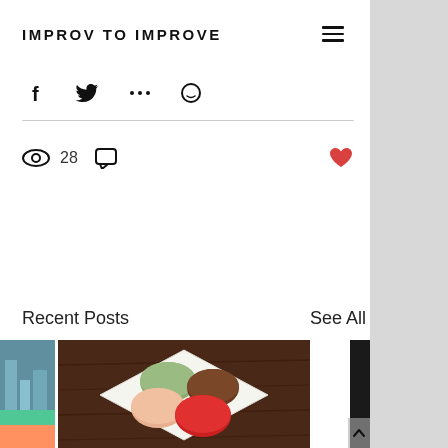IMPROV TO IMPROVE
[Figure (screenshot): Social media icons row: Facebook, Twitter, more options, and smiley/emoji icon]
[Figure (infographic): Eye icon with view count 28, comment bubble icon, and red heart/like icon]
Recent Posts
See All
[Figure (photo): Partially visible city/street photo on left edge]
[Figure (photo): Macarons on a white square plate on dark wood table]
TIPS TO IMPROVE…
[Figure (photo): Partially visible dark/black image on right edge with scroll-up arrow button overlay]